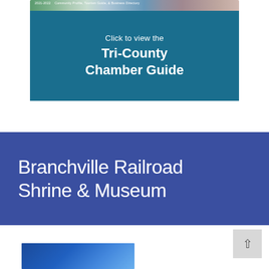[Figure (screenshot): Tri-County Chamber Guide banner with 2021-2022 Community Profile, Tourism Guide & Business Directory cover image strip, on a teal/dark blue background with text 'Click to view the Tri-County Chamber Guide']
Branchville Railroad Shrine & Museum
[Figure (photo): Partial blue-toned photograph at bottom of page]
[Figure (other): Scroll-to-top button with upward arrow]